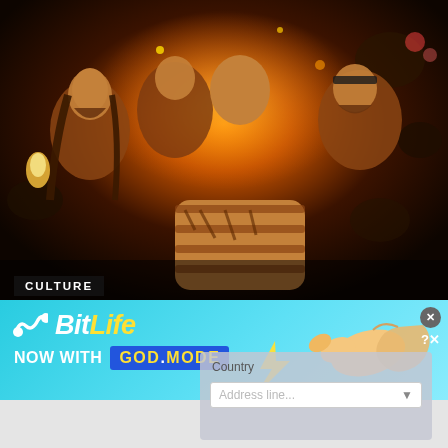[Figure (illustration): Comic-book style illustration of the band Pantera with four figures and a large fist punching toward the viewer, with fiery orange and dark background]
CULTURE
Pantera Launch 'Vulgar Display of Power' Graphic Novel, Vinyl Reissue, Resin Statue
Revolver has exclusive variants of the Z2 Comics book and limited-edition LP
[Figure (screenshot): BitLife advertisement banner: 'NOW WITH GOD MODE' on a cyan/blue gradient background with cartoon hand and pointing finger graphics]